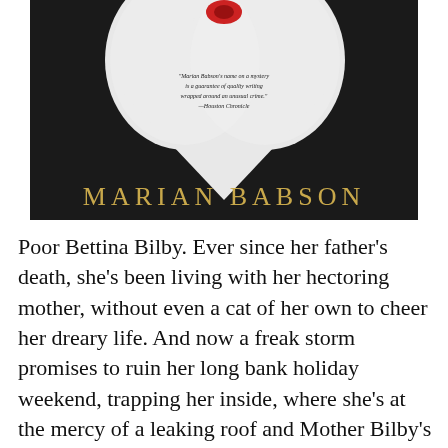[Figure (photo): A book cover photo showing a cat's white furry face forming a heart shape on a dark background, with a quote and the author name MARIAN BABSON in gold letters at the bottom]
Poor Bettina Bilby. Ever since her father's death, she's been living with her hectoring mother, without even a cat of her own to cheer her dreary life. And now a freak storm promises to ruin her long bank holiday weekend, trapping her inside, where she's at the mercy of a leaking roof and Mother Bilby's continuous carping-especially about Bettina's lack of sense in agreeing to take in four boarders for the weekend. The boarders are cats, of cours[REDACTED]hem?- and a [REDACTED]ered